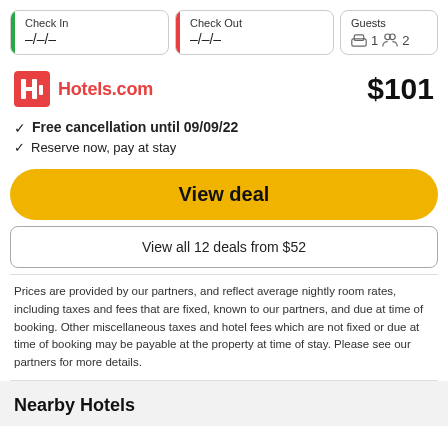Check In –/–/–
Check Out –/–/–
Guests 1 2
[Figure (logo): Hotels.com logo in red]
$101
Free cancellation until 09/09/22
Reserve now, pay at stay
View deal
View all 12 deals from $52
Prices are provided by our partners, and reflect average nightly room rates, including taxes and fees that are fixed, known to our partners, and due at time of booking. Other miscellaneous taxes and hotel fees which are not fixed or due at time of booking may be payable at the property at time of stay. Please see our partners for more details.
Nearby Hotels